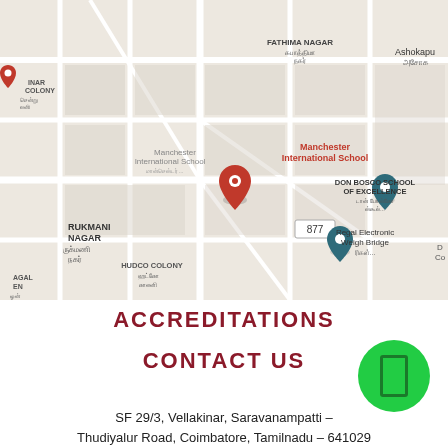[Figure (map): Google Maps view showing Manchester International School, Don Bosco School of Excellence, Regal Electronic Weigh Bridge, Rukmani Nagar, Hudco Colony, Fathima Nagar, Ashokapuram area in Coimbatore, Tamil Nadu]
ACCREDITATIONS
CONTACT US
SF 29/3, Vellakinar, Saravanampatti – Thudiyalur Road, Coimbatore, Tamilnadu – 641029